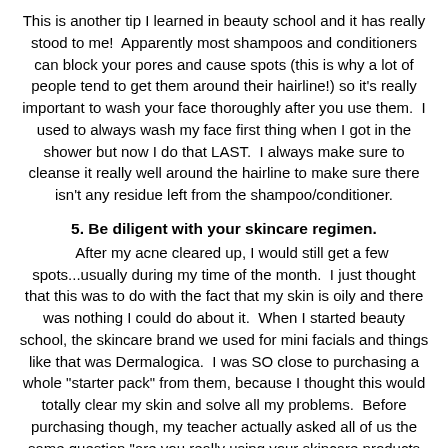This is another tip I learned in beauty school and it has really stood to me!  Apparently most shampoos and conditioners can block your pores and cause spots (this is why a lot of people tend to get them around their hairline!) so it's really important to wash your face thoroughly after you use them.  I used to always wash my face first thing when I got in the shower but now I do that LAST.  I always make sure to cleanse it really well around the hairline to make sure there isn't any residue left from the shampoo/conditioner.
5. Be diligent with your skincare regimen.
After my acne cleared up, I would still get a few spots...usually during my time of the month.  I just thought that this was to do with the fact that my skin is oily and there was nothing I could do about it.  When I started beauty school, the skincare brand we used for mini facials and things like that was Dermalogica.  I was SO close to purchasing a whole "starter pack" from them, because I thought this would totally clear my skin and solve all my problems.  Before purchasing though, my teacher actually asked all of us the same question "are you really using your skincare products diligently?"  When I thought about it, I realised that I was not.  Think about it.  Do you honestly use your skincare products religiously, every morning and night?  Do you ALWAYS take off your makeup at night before bed?  My answer to both questions was NO.  So my teacher said to give it 2 weeks, and I did.  During those two weeks I stuck